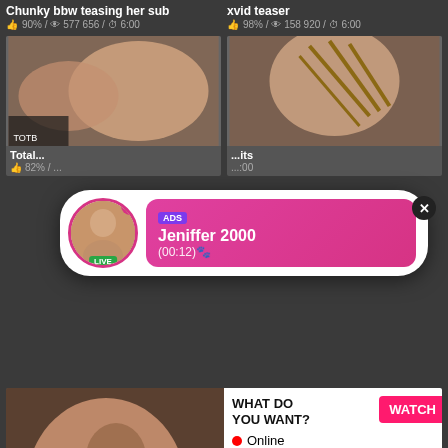Chunky bbw teasing her sub
👍 90% / 👁 577 656 / ⏱ 6:00
xvid teaser
👍 98% / 👁 158 920 / ⏱ 6:00
[Figure (screenshot): Adult video thumbnail - two women on bed]
[Figure (screenshot): Adult video thumbnail - bondage ropes]
[Figure (screenshot): Ad overlay popup with profile photo, LIVE badge, notification badge, ADS label, name Jeniffer 2000, time (00:12), close button]
Total... 82% / ...
...its ...:00
[Figure (screenshot): Adult video thumbnail bottom left]
[Figure (screenshot): Ad block: WHAT DO YOU WANT? WATCH button, Online indicator, three thumbnails, Cumming, ass fucking, squirt or... • ADS]
Slave Gets Her Pussy Pumped
Busty blonde Cherrys breast